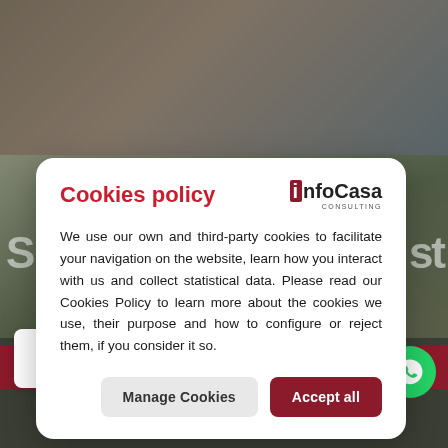[Figure (screenshot): Background website screenshot with blurred images and overlay, showing a real estate consulting site (InfoCasa Consulting) behind a cookie consent modal.]
Cookies policy
[Figure (logo): InfoCasa Consulting logo — stylized 'i' in red box followed by 'nfoCasa' in dark text, with 'CONSULTING' subtitle below.]
We use our own and third-party cookies to facilitate your navigation on the website, learn how you interact with us and collect statistical data. Please read our Cookies Policy to learn more about the cookies we use, their purpose and how to configure or reject them, if you consider it so.
Manage Cookies
Accept all
Send
QUESTION?
Accept Privacy Policy